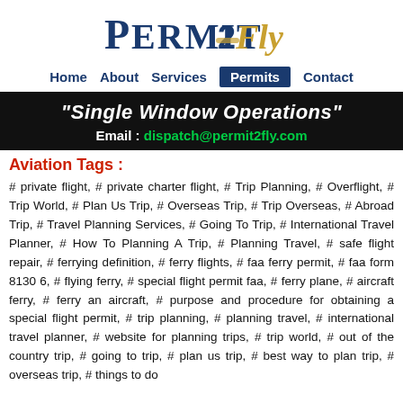[Figure (logo): Permit2Fly logo with stylized text in dark blue and gold/tan colors]
Home   About   Services   Permits   Contact
[Figure (infographic): Black banner with white italic text 'Single Window Operations' and green email dispatch@permit2fly.com]
Aviation Tags :
# private flight, # private charter flight, # Trip Planning, # Overflight, # Trip World, # Plan Us Trip, # Overseas Trip, # Trip Overseas, # Abroad Trip, # Travel Planning Services, # Going To Trip, # International Travel Planner, # How To Planning A Trip, # Planning Travel, # safe flight repair, # ferrying definition, # ferry flights, # faa ferry permit, # faa form 8130 6, # flying ferry, # special flight permit faa, # ferry plane, # aircraft ferry, # ferry an aircraft, # purpose and procedure for obtaining a special flight permit, # trip planning, # planning travel, # international travel planner, # website for planning trips, # trip world, # out of the country trip, # going to trip, # plan us trip, # best way to plan trip, # overseas trip, # things to do